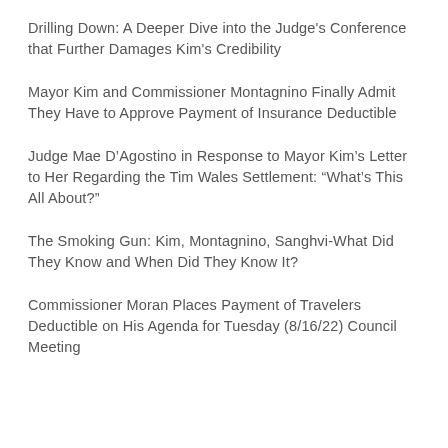Drilling Down: A Deeper Dive into the Judge's Conference that Further Damages Kim's Credibility
Mayor Kim and Commissioner Montagnino Finally Admit They Have to Approve Payment of Insurance Deductible
Judge Mae D'Agostino in Response to Mayor Kim's Letter to Her Regarding the Tim Wales Settlement: “What's This All About?”
The Smoking Gun: Kim, Montagnino, Sanghvi-What Did They Know and When Did They Know It?
Commissioner Moran Places Payment of Travelers Deductible on His Agenda for Tuesday (8/16/22) Council Meeting